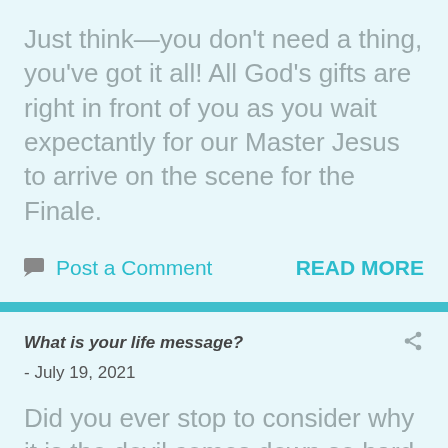Just think—you don't need a thing, you've got it all! All God's gifts are right in front of you as you wait expectantly for our Master Jesus to arrive on the scene for the Finale.
Post a Comment    READ MORE
What is your life message?
- July 19, 2021
Did you ever stop to consider why it is the devil comes down so hard on you to convince you who you 'used to